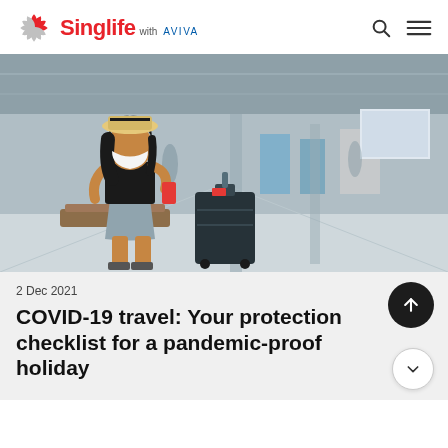Singlife with AVIVA
[Figure (photo): A young Asian woman wearing a face mask and straw hat sits in an airport terminal, looking at her red smartphone. A dark suitcase is beside her. The airport background shows check-in counters and other travelers.]
2 Dec 2021
COVID-19 travel: Your protection checklist for a pandemic-proof holiday